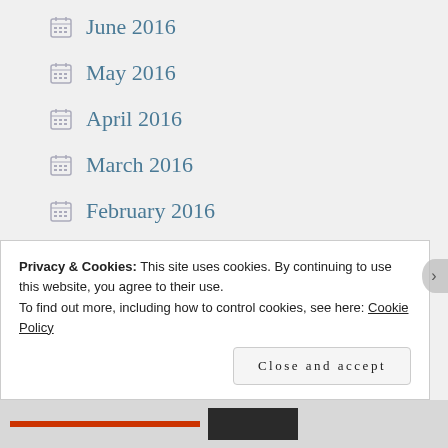June 2016
May 2016
April 2016
March 2016
February 2016
January 2016
December 2015
November 2015
October 2015
Privacy & Cookies: This site uses cookies. By continuing to use this website, you agree to their use.
To find out more, including how to control cookies, see here: Cookie Policy
Close and accept